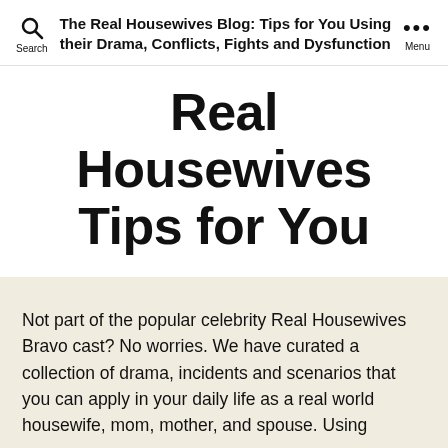The Real Housewives Blog: Tips for You Using their Drama, Conflicts, Fights and Dysfunction
Real Housewives Tips for You
Not part of the popular celebrity Real Housewives Bravo cast? No worries. We have curated a collection of drama, incidents and scenarios that you can apply in your daily life as a real world housewife, mom, mother, and spouse. Using